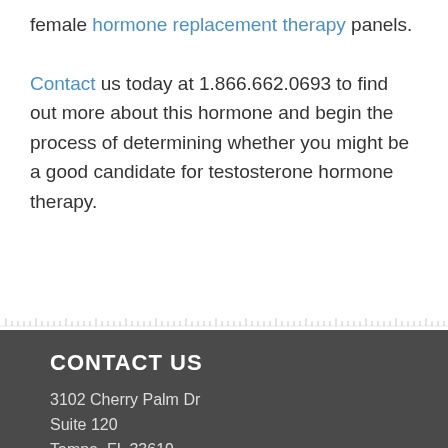female hormone replacement therapy panels. Contact us today at 1.866.662.0693 to find out more about this hormone and begin the process of determining whether you might be a good candidate for testosterone hormone therapy.
CONTACT US
3102 Cherry Palm Dr
Suite 120
Tampa, FL 33619